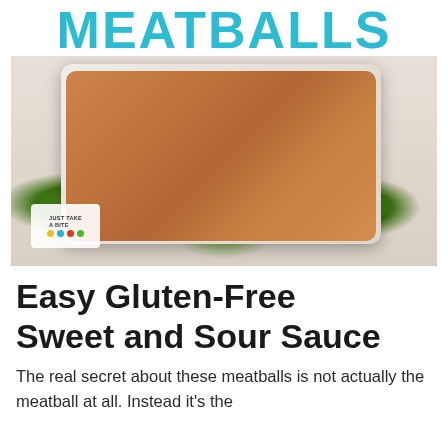MEATBALLS
[Figure (photo): Overhead photo of meatballs in sweet and sour sauce served in a white square bowl, surrounded by steamed broccoli florets on a white plate. A small logo watermark is visible in the lower left.]
Easy Gluten-Free Sweet and Sour Sauce
The real secret about these meatballs is not actually the meatball at all. Instead it's the